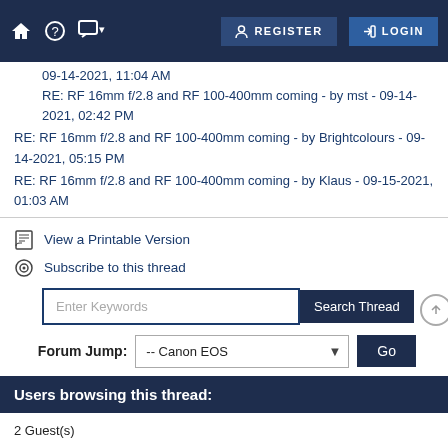REGISTER | LOGIN
09-14-2021, 11:04 AM
RE: RF 16mm f/2.8 and RF 100-400mm coming - by mst - 09-14-2021, 02:42 PM
RE: RF 16mm f/2.8 and RF 100-400mm coming - by Brightcolours - 09-14-2021, 05:15 PM
RE: RF 16mm f/2.8 and RF 100-400mm coming - by Klaus - 09-15-2021, 01:03 AM
View a Printable Version
Subscribe to this thread
Enter Keywords
Search Thread
Forum Jump: -- Canon EOS
Users browsing this thread:
2 Guest(s)